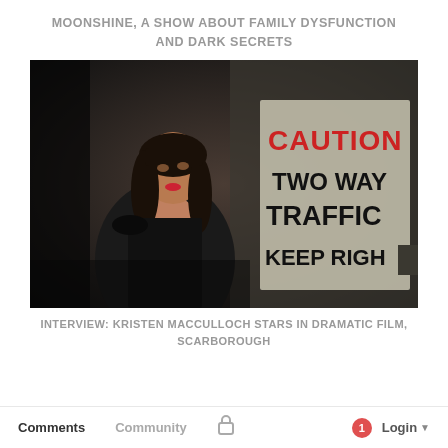MOONSHINE, A SHOW ABOUT FAMILY DYSFUNCTION AND DARK SECRETS
[Figure (photo): A woman in a black strapless outfit stands in a parking garage with a 'CAUTION TWO WAY TRAFFIC KEEP RIGHT' sign visible behind her. The image has a dark, dramatic tone.]
INTERVIEW: KRISTEN MACCULLOCH STARS IN DRAMATIC FILM, SCARBOROUGH
Comments   Community   [lock icon]   1   Login